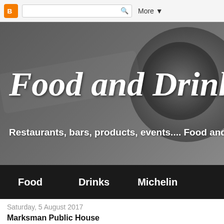Blogger | More ▼
[Figure (screenshot): Blog header hero image with dark/grey background showing a camera or watch. Title reads 'Food and Drinks N...' and subtitle reads 'Restaurants, bars, products, events.... Food and dri...']
Food and Drinks N
Restaurants, bars, products, events.... Food and dri
Food   Drinks   Michelin
Saturday, 5 August 2017
Marksman Public House
Pub of the year?